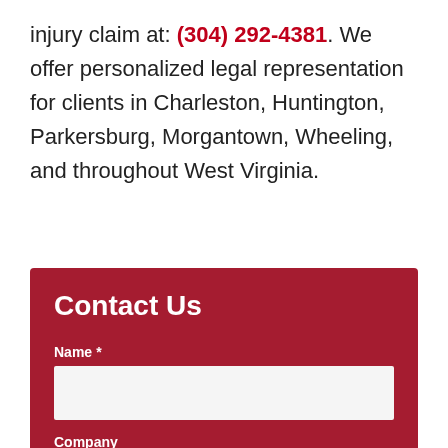injury claim at: (304) 292-4381. We offer personalized legal representation for clients in Charleston, Huntington, Parkersburg, Morgantown, Wheeling, and throughout West Virginia.
Contact Us
Name *
Company